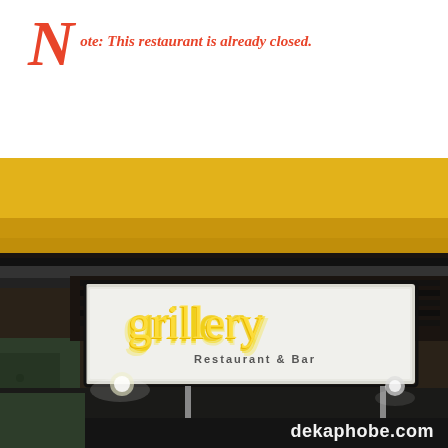Note: This restaurant is already closed.
[Figure (photo): Photo of the Grillery Restaurant & Bar illuminated sign mounted on a ceiling, with glowing yellow letters on a white rectangular lightbox. The restaurant's entry area is visible with dark ceiling panels, spotlights, and green-tinted walls.]
dekaphobe.com